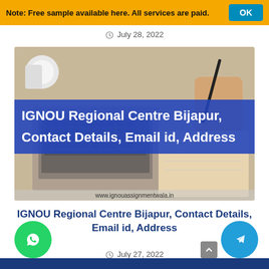Note: Free sample available here. All services are paid.   OK
July 28, 2022
[Figure (photo): Photo of laptop and hands writing with text overlay: IGNOU Regional Centre Bijapur, Contact Details, Email id, Address. Website: www.ignouassignmentwala.in]
IGNOU Regional Centre Bijapur, Contact Details, Email id, Address
July 27, 2022